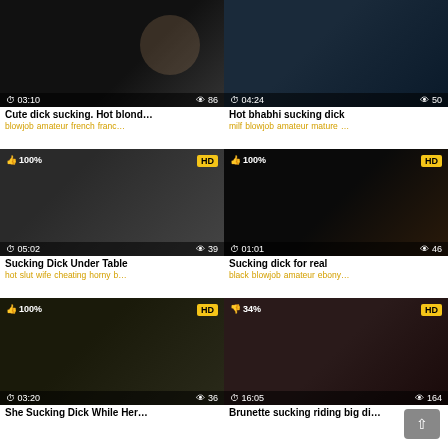[Figure (screenshot): Video thumbnail grid showing 6 adult video thumbnails with titles, tags, duration, and view counts]
Cute dick sucking. Hot blond…
blowjob amateur french franc…
Hot bhabhi sucking dick
milf blowjob amateur mature …
Sucking Dick Under Table
hot slut wife cheating horny b…
Sucking dick for real
black blowjob amateur ebony…
She Sucking Dick While Her…
Brunette sucking riding big di…